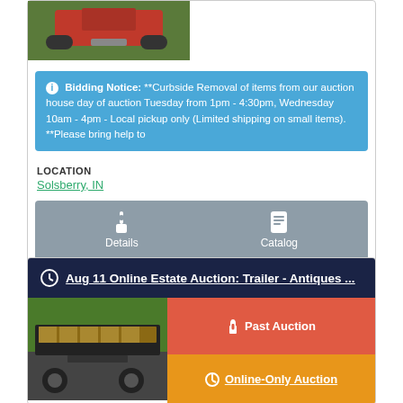[Figure (photo): Red riding mower on green grass]
Bidding Notice: **Curbside Removal of items from our auction house day of auction Tuesday from 1pm - 4:30pm, Wednesday 10am - 4pm - Local pickup only (Limited shipping on small items). **Please bring help to
LOCATION
Solsberry, IN
Details   Catalog
Aug 11 Online Estate Auction: Trailer - Antiques ...
[Figure (photo): Dump trailer with wooden sides on green grass]
Past Auction
Online-Only Auction